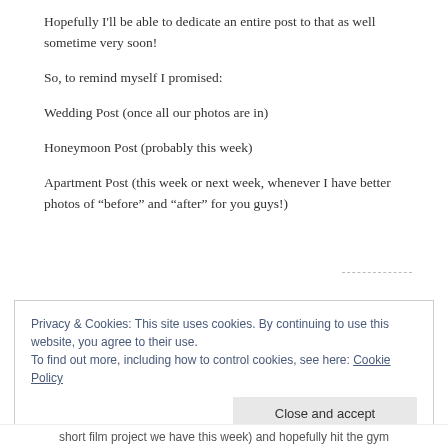Hopefully I’ll be able to dedicate an entire post to that as well sometime very soon!
So, to remind myself I promised:
Wedding Post (once all our photos are in)
Honeymoon Post (probably this week)
Apartment Post (this week or next week, whenever I have better photos of “before” and “after” for you guys!)
Privacy & Cookies: This site uses cookies. By continuing to use this website, you agree to their use.
To find out more, including how to control cookies, see here: Cookie Policy
short film project we have this week) and hopefully hit the gym